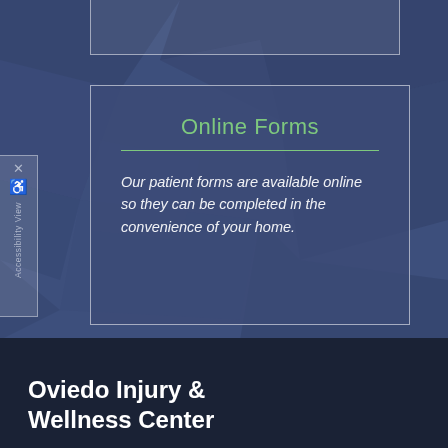[Figure (other): Partially visible white-bordered card at top of a dark blue geometric polygon background]
Online Forms
Our patient forms are available online so they can be completed in the convenience of your home.
Oviedo Injury & Wellness Center